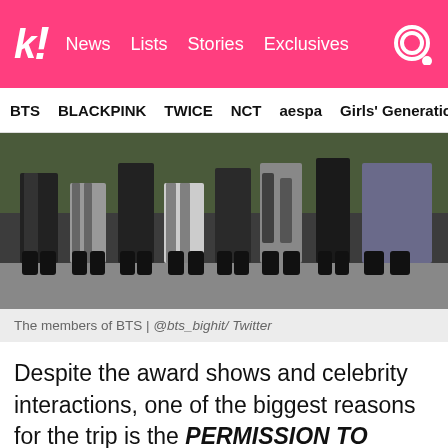k! News Lists Stories Exclusives
BTS BLACKPINK TWICE NCT aespa Girls' Generation
[Figure (photo): Photo of BTS members from the waist down, showing various outfits and black boots, standing in front of a green hedge background.]
The members of BTS | @bts_bighit/ Twitter
Despite the award shows and celebrity interactions, one of the biggest reasons for the trip is the PERMISSION TO DANCE ON STAGE concert in LA. After nearly two years away from fans, BTS is returning to the stage to perform in front of a sold-out SoFi stadium for four nights.